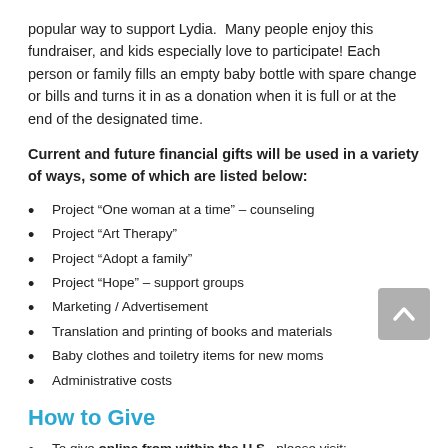popular way to support Lydia.  Many people enjoy this fundraiser, and kids especially love to participate! Each person or family fills an empty baby bottle with spare change or bills and turns it in as a donation when it is full or at the end of the designated time.
Current and future financial gifts will be used in a variety of ways, some of which are listed below:
Project “One woman at a time” – counseling
Project “Art Therapy”
Project “Adopt a family”
Project “Hope” – support groups
Marketing / Advertisement
Translation and printing of books and materials
Baby clothes and toiletry items for new moms
Administrative costs
How to Give
To give online from within the U.S., please visit: